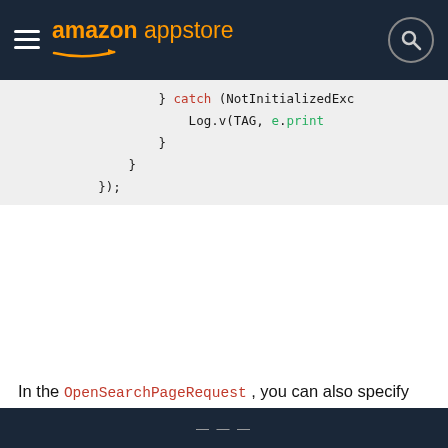amazon appstore
[Figure (screenshot): Code snippet showing a catch block with NotInitializedExc and Log.v(TAG, e.print inside a closing });]
In the OpenSearchPageRequest, you can also specify Brand and SortOrder as well. For information about brands, sort orders, and categories, see [Mobile Associates API Search Categories][mobile-associates/mas-search-categories].
...